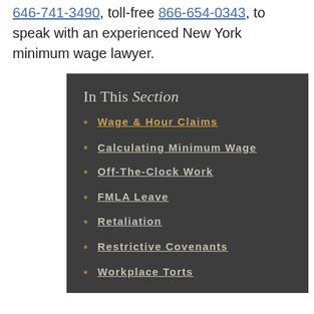646-741-3490, toll-free 866-654-0343, to speak with an experienced New York minimum wage lawyer.
In This Section
Wage & Hour Claims
Calculating Minimum Wage
Off-The-Clock Work
FMLA Leave
Retaliation
Restrictive Covenants
Workplace Torts